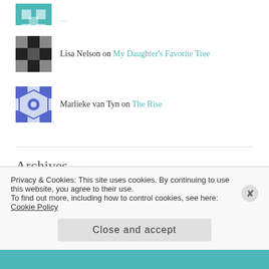[avatar] on [partial - top of page]
Lisa Nelson on My Daughter's Favorite Tree
Marlieke van Tyn on The Rise
Archives
January 2022
Privacy & Cookies: This site uses cookies. By continuing to use this website, you agree to their use. To find out more, including how to control cookies, see here: Cookie Policy
Close and accept